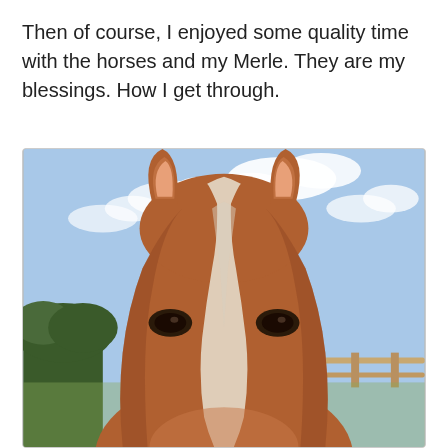Then of course, I enjoyed some quality time with the horses and my Merle. They are my blessings. How I get through.
[Figure (photo): Close-up photo of a chestnut/bay horse's face taken from above, looking down at its forehead and ears. The horse has a white stripe (blaze) running down its face, two alert ears pointing up, and dark expressive eyes on either side. The background shows a partly cloudy blue sky with green trees and a wooden fence visible.]